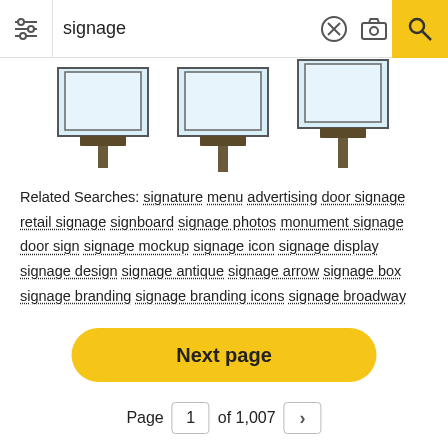[Figure (screenshot): Search bar with filter icon on left, 'signage' text, X button, camera icon, and yellow search button on right]
[Figure (illustration): Partial view of signage/display stand icons/clipart images]
Related Searches: signature menu advertising door signage retail signage signboard signage photos monument signage door sign signage mockup signage icon signage display signage design signage antique signage arrow signage box signage branding signage branding icons signage broadway
[Figure (other): Next page button - yellow rounded rectangle with 'Next page' bold text]
Page 1 of 1,007 >